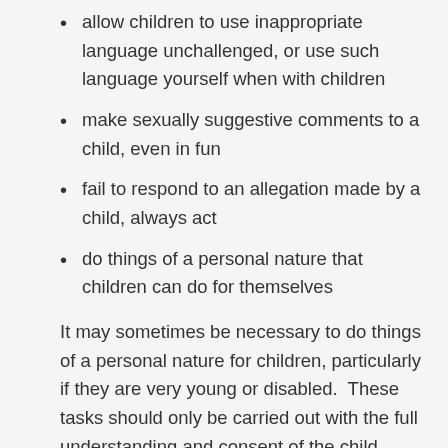allow children to use inappropriate language unchallenged, or use such language yourself when with children
make sexually suggestive comments to a child, even in fun
fail to respond to an allegation made by a child, always act
do things of a personal nature that children can do for themselves
It may sometimes be necessary to do things of a personal nature for children, particularly if they are very young or disabled.  These tasks should only be carried out with the full understanding and consent of the child (where possible) and